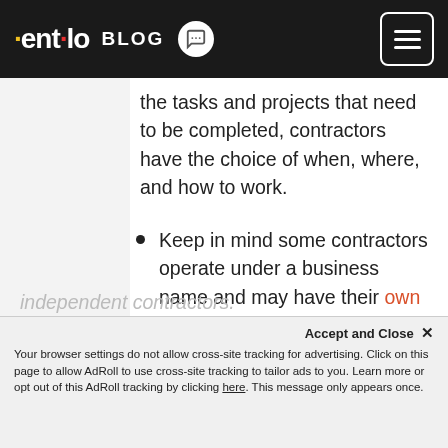entelo BLOG
the tasks and projects that need to be completed, contractors have the choice of when, where, and how to work.
Keep in mind some contractors operate under a business name and may have their own team of employees.
Want to learn more about hiring contractors for your company? Stay tuned to the Entelo Blog next week as we delve into more on independent contractors.
Your browser settings do not allow cross-site tracking for advertising. Click on this page to allow AdRoll to use cross-site tracking to tailor ads to you. Learn more or opt out of this AdRoll tracking by clicking here. This message only appears once.